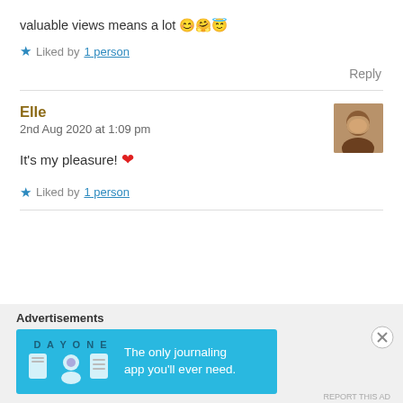valuable views means a lot 😊🤗😇
★ Liked by 1 person
Reply
Elle
2nd Aug 2020 at 1:09 pm
It's my pleasure! ❤
★ Liked by 1 person
[Figure (photo): Small avatar photo of commenter Elle]
Advertisements
[Figure (screenshot): Day One journaling app advertisement banner: 'The only journaling app you'll ever need.']